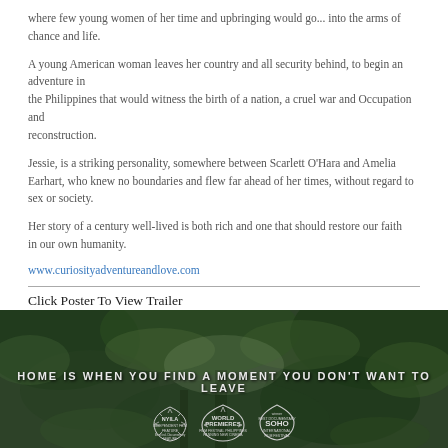where few young women of her time and upbringing would go... into the arms of chance and life.
A young American woman leaves her country and all security behind, to begin an adventure in the Philippines that would witness the birth of a nation, a cruel war and Occupation and reconstruction.
Jessie, is a striking personality, somewhere between Scarlett O’Hara and Amelia Earhart, who knew no boundaries and flew far ahead of her times, without regard to sex or society.
Her story of a century well-lived is both rich and one that should restore our faith in our own humanity.
www.curiosityadventureandlove.com
Click Poster To View Trailer
[Figure (photo): Movie poster with lush green tropical foliage background and text 'HOME IS WHEN YOU FIND A MOMENT YOU DON’T WANT TO LEAVE'. Awards shown at bottom: NYILA Best Documentary Feature, World Premieres Film Festival Philippines, and SOHO International Film Festival Best Documentary.]